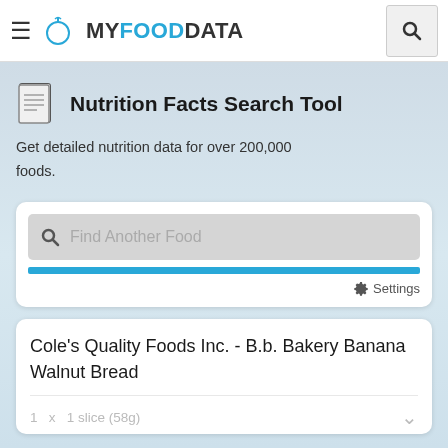MY FOOD DATA
Nutrition Facts Search Tool
Get detailed nutrition data for over 200,000 foods.
[Figure (screenshot): Search input box with placeholder 'Find Another Food', blue progress bar below, and Settings option]
Cole's Quality Foods Inc. - B.b. Bakery Banana Walnut Bread
1  x  1 slice (58g)